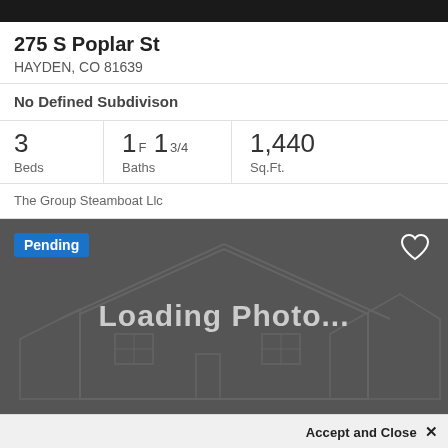275 S Poplar St
HAYDEN, CO 81639
No Defined Subdivison
3 Beds
1F 13/4 Baths
1,440 Sq.Ft.
The Group Steamboat Llc
[Figure (photo): Property listing photo placeholder showing 'Loading Photo...' text over a dark gray background with faint house outline illustration. Shows 'Pending' badge in blue top left and heart icon top right.]
Accept and Close ✕
Call
Text